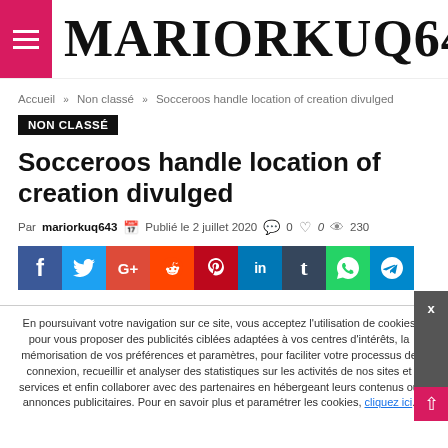MARIORKUQ643
Accueil » Non classé » Socceroos handle location of creation divulged
NON CLASSÉ
Socceroos handle location of creation divulged
Par mariorkuq643   Publié le 2 juillet 2020   0   0   230
[Figure (other): Social sharing buttons: Facebook, Twitter, Google+, Reddit, Pinterest, LinkedIn, Tumblr, WhatsApp, Telegram]
En poursuivant votre navigation sur ce site, vous acceptez l'utilisation de cookies pour vous proposer des publicités ciblées adaptées à vos centres d'intérêts, la mémorisation de vos préférences et paramètres, pour faciliter votre processus de connexion, recueillir et analyser des statistiques sur les activités de nos sites et services et enfin collaborer avec des partenaires en hébergeant leurs contenus ou annonces publicitaires. Pour en savoir plus et paramétrer les cookies, cliquez ici.